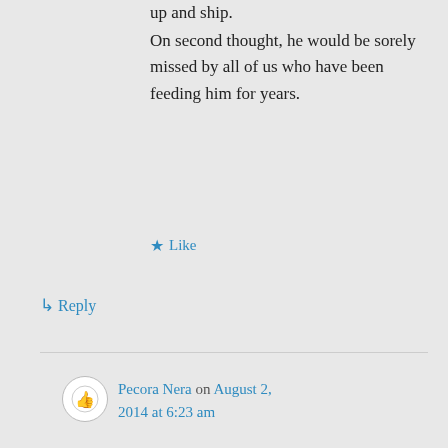up and ship.
On second thought, he would be sorely missed by all of us who have been feeding him for years.
Like
Reply
Pecora Nera on August 2, 2014 at 6:23 am
We had a mild winter and a very wet summer so the mosquitoes are breading fast and eating everyone. Thanks for the offer of a cat but I think I will get a big daft